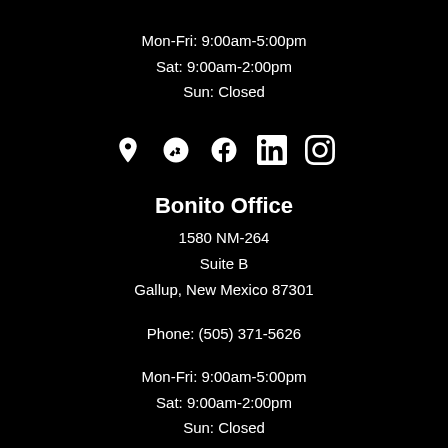Mon-Fri: 9:00am-5:00pm
Sat: 9:00am-2:00pm
Sun: Closed
[Figure (other): Row of social media icons: map pin, Yelp, Facebook, LinkedIn, Instagram]
Bonito Office
1580 NM-264
Suite B
Gallup, New Mexico 87301
Phone: (505) 371-5626
Mon-Fri: 9:00am-5:00pm
Sat: 9:00am-2:00pm
Sun: Closed